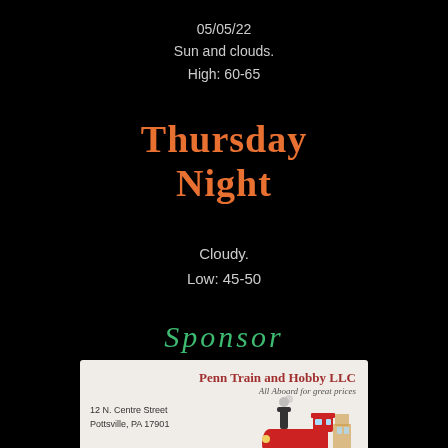05/05/22
Sun and clouds.
High: 60-65
Thursday Night
Cloudy.
Low: 45-50
Sponsor
[Figure (photo): Business card for Penn Train and Hobby LLC showing company name, tagline 'All Aboard for great prices', address 12 N. Centre Street Pottsville PA 17901, phone 570-628-5927, email Pennth16@aol.com, and an illustration of a red train locomotive]